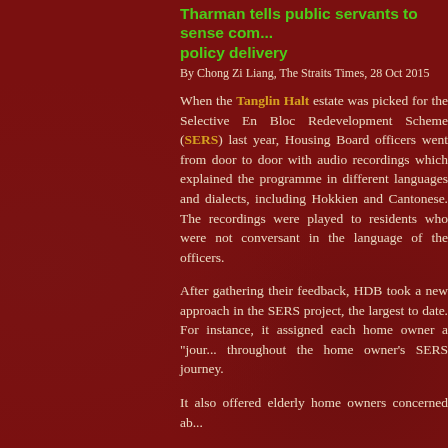Tharman tells public servants to sense com... policy delivery
By Chong Zi Liang, The Straits Times, 28 Oct 2015
When the Tanglin Halt estate was picked for the Selective En Bloc Redevelopment Scheme (SERS) last year, Housing Board officers went from door to door with audio recordings which explained the programme in different languages and dialects, including Hokkien and Cantonese. The recordings were played to residents who were not conversant in the language of the officers.
After gathering their feedback, HDB took a new approach in the SERS project, the largest to date. For instance, it assigned each home owner a "jour... throughout the home owner's SERS journey.
It also offered elderly home owners concerned ab...